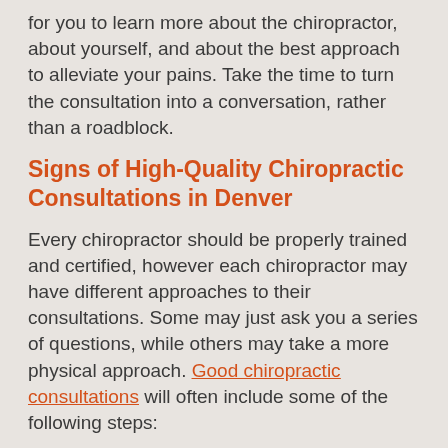for you to learn more about the chiropractor, about yourself, and about the best approach to alleviate your pains. Take the time to turn the consultation into a conversation, rather than a roadblock.
Signs of High-Quality Chiropractic Consultations in Denver
Every chiropractor should be properly trained and certified, however each chiropractor may have different approaches to their consultations. Some may just ask you a series of questions, while others may take a more physical approach. Good chiropractic consultations will often include some of the following steps:
An examination of your medical history — This can help develop a treatment plan later down the line.
A discussion of your pain symptoms —